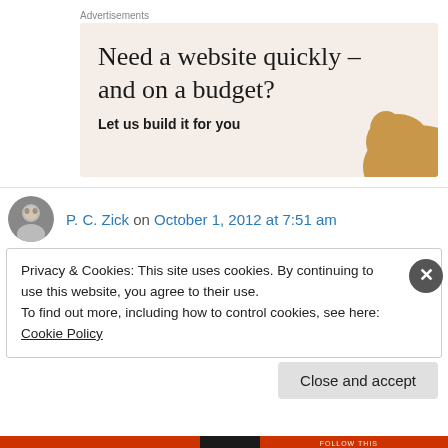Advertisements
[Figure (illustration): Advertisement banner with beige/cream background. Headline reads 'Need a website quickly – and on a budget?' with subtext 'Let us build it for you'. A dog image is partially visible at the bottom-right corner.]
P. C. Zick on October 1, 2012 at 7:51 am
Privacy & Cookies: This site uses cookies. By continuing to use this website, you agree to their use.
To find out more, including how to control cookies, see here: Cookie Policy
Close and accept